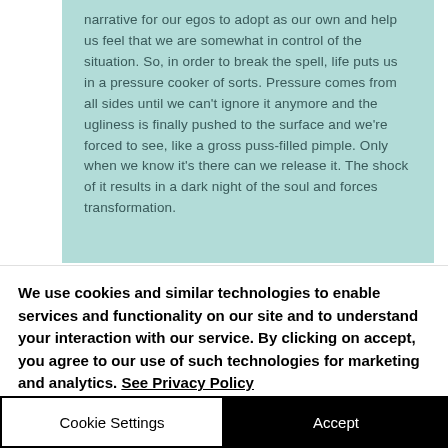narrative for our egos to adopt as our own and help us feel that we are somewhat in control of the situation. So, in order to break the spell, life puts us in a pressure cooker of sorts. Pressure comes from all sides until we can't ignore it anymore and the ugliness is finally pushed to the surface and we're forced to see, like a gross puss-filled pimple. Only when we know it's there can we release it. The shock of it results in a dark night of the soul and forces transformation.
We use cookies and similar technologies to enable services and functionality on our site and to understand your interaction with our service. By clicking on accept, you agree to our use of such technologies for marketing and analytics. See Privacy Policy
Cookie Settings
Accept